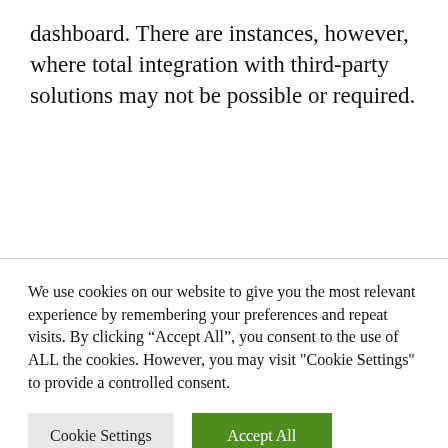dashboard. There are instances, however, where total integration with third-party solutions may not be possible or required.
We use cookies on our website to give you the most relevant experience by remembering your preferences and repeat visits. By clicking "Accept All", you consent to the use of ALL the cookies. However, you may visit "Cookie Settings" to provide a controlled consent.